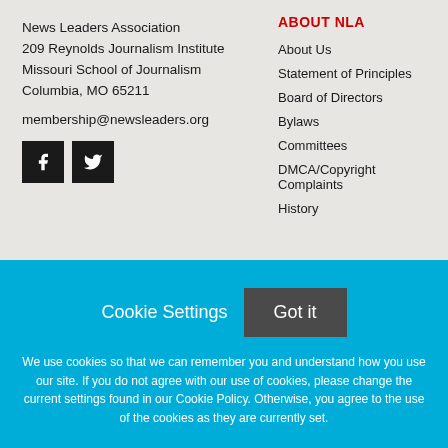News Leaders Association
209 Reynolds Journalism Institute
Missouri School of Journalism
Columbia, MO 65211
membership@newsleaders.org
[Figure (illustration): Facebook and Twitter social media icons in black square buttons]
ABOUT NLA
About Us
Statement of Principles
Board of Directors
Bylaws
Committees
DMCA/Copyright Complaints
History
Cookie Settings
Got it
We use cookies so that we can remember you and understand how you use our site. If you do not agree with our use of cookies, please change the current settings found in our Cookie Policy. Otherwise, you agree to the use of the cookies as they are currently set.